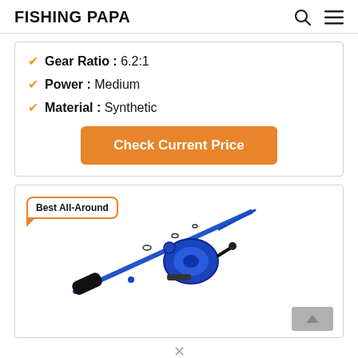FISHING PAPA
Gear Ratio : 6.2:1
Power : Medium
Material : Synthetic
Check Current Price
[Figure (photo): Fishing rod and reel combo, blue rod with black reel, labeled Best All-Around]
x